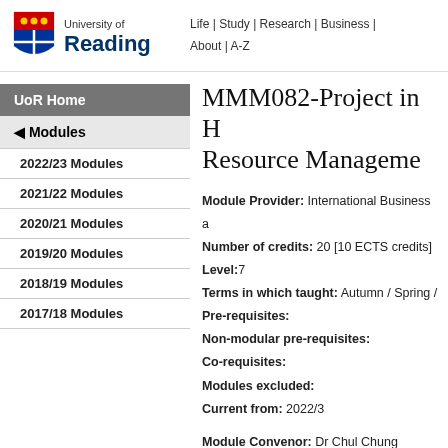[Figure (logo): University of Reading shield logo with red/yellow/blue heraldic design]
University of Reading — Life | Study | Research | Business | About | A-Z
UoR Home
◄ Modules
2022/23 Modules
2021/22 Modules
2020/21 Modules
2019/20 Modules
2018/19 Modules
2017/18 Modules
MMM082-Project in Human Resource Management
Module Provider: International Business and Strategy
Number of credits: 20 [10 ECTS credits]
Level:7
Terms in which taught: Autumn / Spring /
Pre-requisites:
Non-modular pre-requisites:
Co-requisites:
Modules excluded:
Current from: 2022/3
Module Convenor: Dr Chul Chung
Email: c.chung@henley.ac.uk